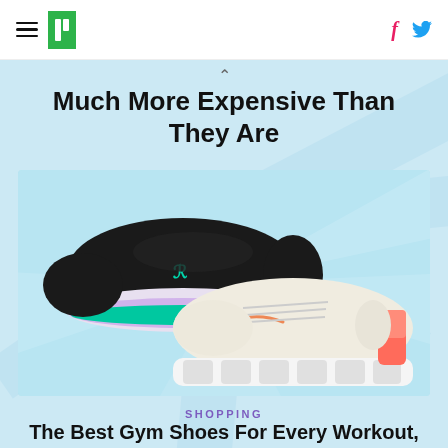HuffPost navigation header with hamburger menu, logo, Facebook and Twitter icons
Much More Expensive Than They Are
[Figure (photo): Two gym/training shoes on a light blue background: a black Under Armour running shoe with teal sole on the left, and a beige/cream Nike Free Metcon shoe with coral/orange accents on the right]
SHOPPING
The Best Gym Shoes For Every Workout, According To Fitness